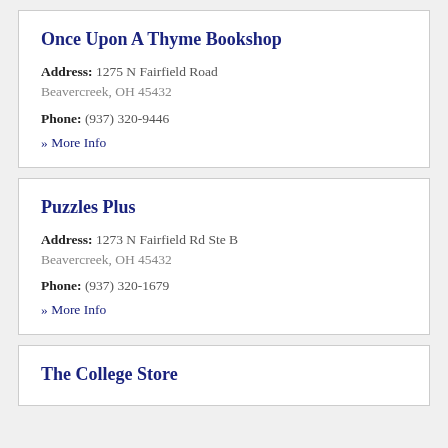Once Upon A Thyme Bookshop
Address: 1275 N Fairfield Road Beavercreek, OH 45432
Phone: (937) 320-9446
» More Info
Puzzles Plus
Address: 1273 N Fairfield Rd Ste B Beavercreek, OH 45432
Phone: (937) 320-1679
» More Info
The College Store